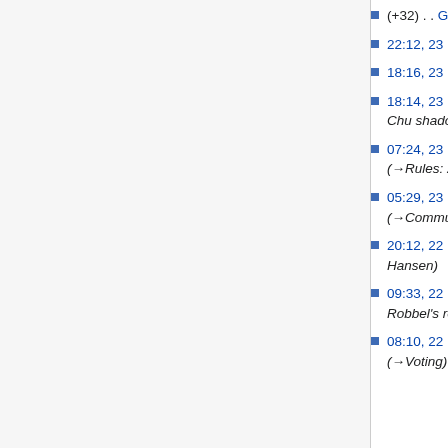(+32) . . Gallery (→Pete & Matt: Added Youtube links)
22:12, 23 November 2010 (diff | hist) . . (0) . . m Gallery (→Ben X Tan)
18:16, 23 November 2010 (diff | hist) . . (+62) . . m Gallery (→Henry Chu)
18:14, 23 November 2010 (diff | hist) . . (+100) . . Gallery (Added Henry Chu shadow boxing)
07:24, 23 November 2010 (diff | hist) . . (+59) . . Logo Proposals (→Rules: Added clarification that the submission period has ended)
05:29, 23 November 2010 (diff | hist) . . (+129) . . Main Page (→Communications: Added announce mailing list)
20:12, 22 November 2010 (diff | hist) . . (+101) . . Gallery (Added Thomas Hansen)
09:33, 22 November 2010 (diff | hist) . . (+146) . . Gallery (Added Phillip Robbel's robot video)
08:10, 22 November 2010 (diff | hist) . . (+16) . . Logo Proposals (→Voting)